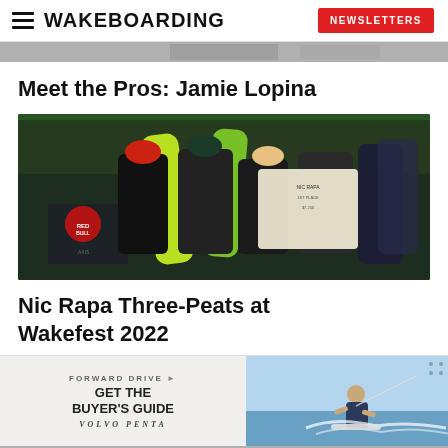WAKEBOARDING | NEWSLETTERS
[Figure (photo): Cropped top portion of an action or event photo, partially visible]
Meet the Pros: Jamie Lopina
[Figure (photo): Photo of wakeboarders at an event, holding wakeboards and prize checks. Red Bull branding visible.]
Nic Rapa Three-Peats at Wakefest 2022
[Figure (photo): Advertisement: Forward Drive - Get the Buyer's Guide, Volvo Penta. Right side shows a photo of a wakeboarder on water.]